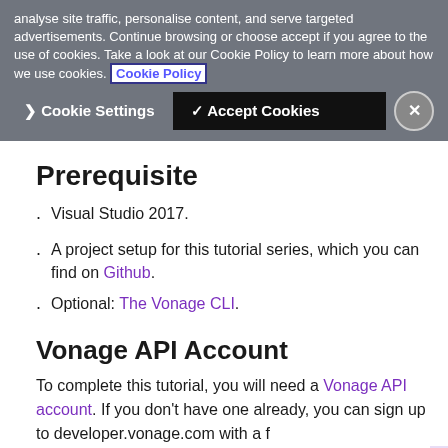analyse site traffic, personalise content, and serve targeted advertisements. Continue browsing or choose accept if you agree to the use of cookies. Take a look at our Cookie Policy to learn more about how we use cookies. Cookie Policy
❯ Cookie Settings   ✓ Accept Cookies   ✕
Prerequisite
Visual Studio 2017.
A project setup for this tutorial series, which you can find on Github.
Optional: The Vonage CLI.
Vonage API Account
To complete this tutorial, you will need a Vonage API account. If you don't have one already, you can sign up to developer.vonage.com with a f...